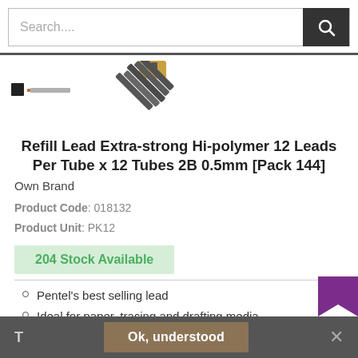Search....
[Figure (photo): Product image of pencil leads/mechanical pencil refill, showing a pack thumbnail and a larger image of lead tips bundled together]
Refill Lead Extra-strong Hi-polymer 12 Leads Per Tube x 12 Tubes 2B 0.5mm [Pack 144]
Own Brand
Product Code: 018132
Product Unit: PK12
204 Stock Available
Pentel's best selling lead
Ideal for paper, tracing and drafting media
T   Ok, understood   ×